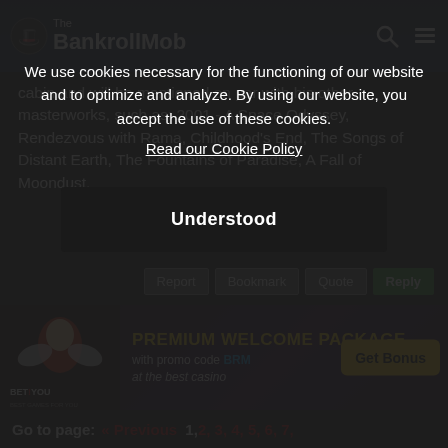The BankrollMob
cabin and will be mentioned on par with his other masterworks, such as: 2001 - A Space Odyssey, Rendezvous with Rama, Childhood's End, The Songs of Distant Earth, The Fountains of Paradise, A Fall of Moondust.
[Figure (infographic): BetYou casino advertisement banner: PREMIUM WELCOME PACKAGE with promo code BRM at the best casino, Get Bonus button]
Go to page: « Previous 1, 2, 3, 4, 5, 6, 7,
We use cookies necessary for the functioning of our website and to optimize and analyze. By using our website, you accept the use of these cookies.
Read our Cookie Policy
Understood